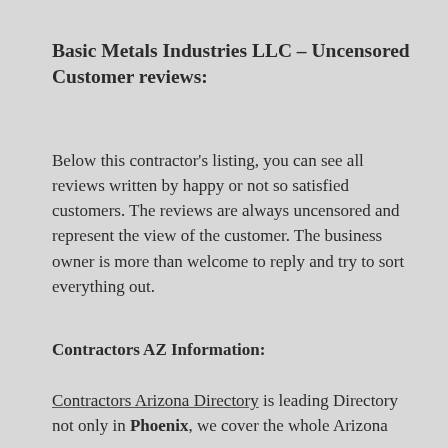Basic Metals Industries LLC – Uncensored Customer reviews:
Below this contractor's listing, you can see all reviews written by happy or not so satisfied customers. The reviews are always uncensored and represent the view of the customer. The business owner is more than welcome to reply and try to sort everything out.
Contractors AZ Information:
Contractors Arizona Directory is leading Directory not only in Phoenix, we cover the whole Arizona